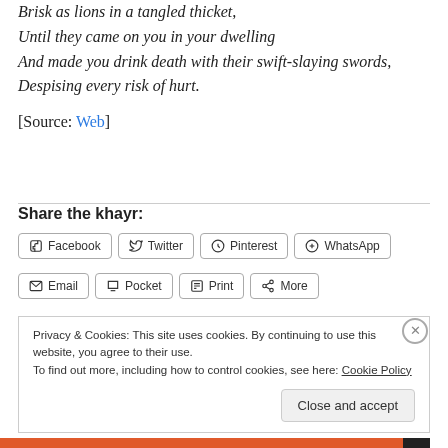Brisk as lions in a tangled thicket,
Until they came on you in your dwelling
And made you drink death with their swift-slaying swords,
Despising every risk of hurt.
[Source: Web]
Share the khayr:
Facebook  Twitter  Pinterest  WhatsApp  Email  Pocket  Print  More
Privacy & Cookies: This site uses cookies. By continuing to use this website, you agree to their use.
To find out more, including how to control cookies, see here: Cookie Policy
Close and accept